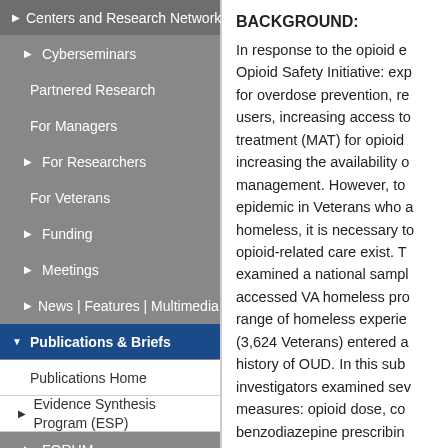Centers and Research Networks
Cyberseminars
Partnered Research
For Managers
For Researchers
For Veterans
Funding
Meetings
News | Features | Multimedia
Publications & Briefs
Publications Home
Evidence Synthesis Program (ESP)
FORUM
In Progress
BACKGROUND:
In response to the opioid epidemic, VA launched the Opioid Safety Initiative: expanding naloxone prescribing for overdose prevention, reducing high-risk opioid users, increasing access to medication-assisted treatment (MAT) for opioid use disorder (OUD), and increasing the availability of non-opioid pain management. However, to address the opioid epidemic in Veterans who are or have been homeless, it is necessary to understand how opioid-related care exist. The current study examined a national sample of Veterans who accessed VA homeless programs encompassing a range of homeless experiences. Overall, 11.9% (3,624 Veterans) entered at some homeless program with a history of OUD. In this subgroup, investigators examined several opioid-related measures: opioid dose, co-prescribing, benzodiazepine prescribing